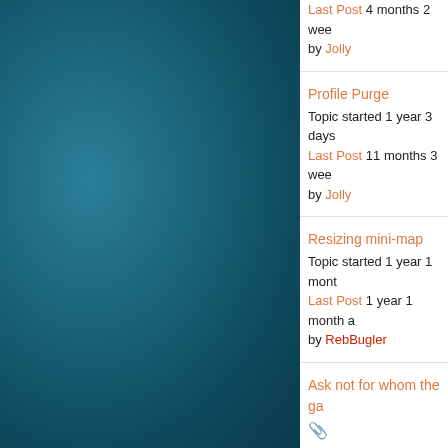[Figure (photo): Teal/dark blue textured background panel on the left side of the page]
Last Post 4 months 2 weeks ago by Jolly
Profile Purge
Topic started 1 year 3 days ago
Last Post 11 months 3 weeks ago
by Jolly
Resizing mini-map
Topic started 1 year 1 month ago
Last Post 1 year 1 month ago
by RebBugler
Ask not for whom the ga...
[paperclip]
Topic started 1 year 1 month ago
Last Post 1 year 1 month ago
by RebBugler
Same old, same old
[paperclip]
Topic started 1 year 3 months ago
Last Post 1 year 1 month ago